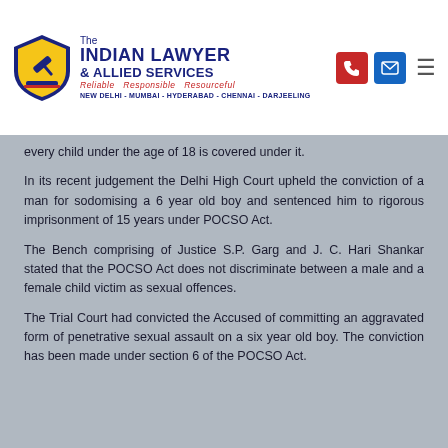[Figure (logo): The Indian Lawyer & Allied Services logo with shield icon, tagline 'Reliable Responsible Resourceful', cities: NEW DELHI - MUMBAI - HYDERABAD - CHENNAI - DARJEELING]
every child under the age of 18 is covered under it.
In its recent judgement the Delhi High Court upheld the conviction of a man for sodomising a 6 year old boy and sentenced him to rigorous imprisonment of 15 years under POCSO Act.
The Bench comprising of Justice S.P. Garg and J. C. Hari Shankar stated that the POCSO Act does not discriminate between a male and a female child victim as sexual offences.
The Trial Court had convicted the Accused of committing an aggravated form of penetrative sexual assault on a six year old boy. The conviction has been made under section 6 of the POCSO Act.